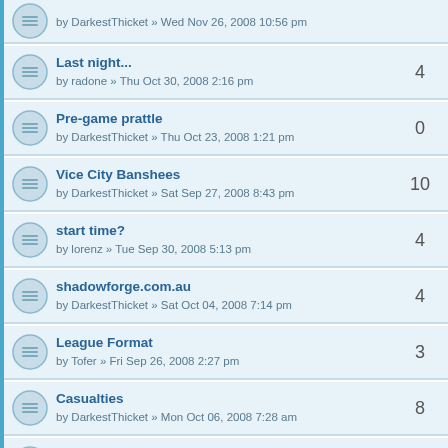by DarkestThicket » Wed Nov 26, 2008 10:56 pm | replies: (cut off)
Last night... by radone » Thu Oct 30, 2008 2:16 pm | replies: 4
Pre-game prattle by DarkestThicket » Thu Oct 23, 2008 1:21 pm | replies: 0
Vice City Banshees by DarkestThicket » Sat Sep 27, 2008 8:43 pm | replies: 10
start time? by lorenz » Tue Sep 30, 2008 5:13 pm | replies: 4
shadowforge.com.au by DarkestThicket » Sat Oct 04, 2008 7:14 pm | replies: 4
League Format by Tofer » Fri Sep 26, 2008 2:27 pm | replies: 3
Casualties by DarkestThicket » Mon Oct 06, 2008 7:28 am | replies: 8
Another question by DarkestThicket » Mon Oct 06, 2008 2:39 pm | replies: 1
Blood Bowl opening Day! by radone » Thu Oct 02, 2008 11:16 pm | replies: 10
TRADES by rancidtwinkie » Mon Sep 29, 2008 1:19 pm | replies: 15
Rrinnhasha Rams by ... | replies: 1